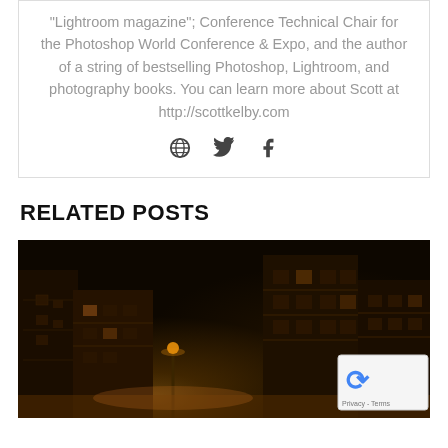"Lightroom magazine"; Conference Technical Chair for the Photoshop World Conference & Expo, and the author of a string of bestselling Photoshop, Lightroom, and photography books. You can learn more about Scott at http://scottkelby.com
[Figure (other): Social media icons: globe/website icon, Twitter bird icon, Facebook f icon]
RELATED POSTS
[Figure (photo): Nighttime street scene with warm orange street lamp lighting illuminating European-style buildings with balconies and windows against a dark sky. A reCAPTCHA privacy badge is visible in the bottom right corner.]